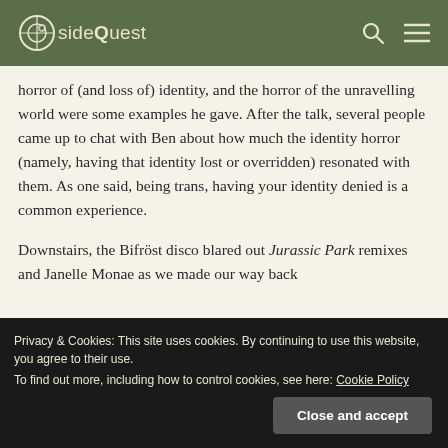sideQuest
horror of (and loss of) identity, and the horror of the unravelling world were some examples he gave. After the talk, several people came up to chat with Ben about how much the identity horror (namely, having that identity lost or overridden) resonated with them. As one said, being trans, having your identity denied is a common experience.
Downstairs, the Bifröst disco blared out Jurassic Park remixes and Janelle Monae as we made our way back
Privacy & Cookies: This site uses cookies. By continuing to use this website, you agree to their use. To find out more, including how to control cookies, see here: Cookie Policy
Close and accept